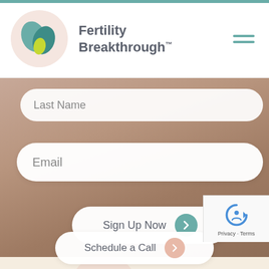[Figure (screenshot): Fertility Breakthrough website screenshot showing navigation bar with logo, form fields for Last Name and Email, a Sign Up Now button with reCAPTCHA widget, and a footer section with the Fertility Breakthrough logo and Schedule a Call button on a teal background.]
Last Name
Email
Sign Up Now
Privacy · Terms
Fertility Breakthrough™
Schedule a Call